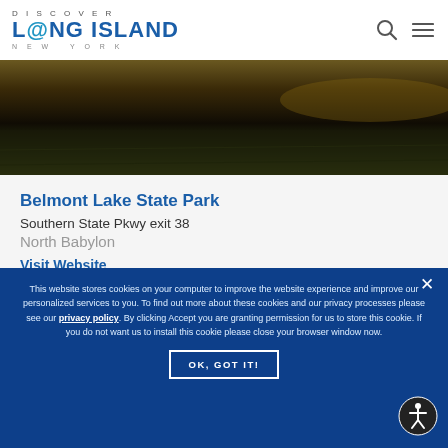Discover Long Island New York
[Figure (photo): Aerial or landscape photo of Belmont Lake State Park at dusk/golden hour, showing dark water and fields]
Belmont Lake State Park
Southern State Pkwy exit 38
North Babylon
Visit Website
Belmont Lake State Park is full of nature and...
This website stores cookies on your computer to improve the website experience and improve our personalized services to you. To find out more about these cookies and our privacy processes please see our privacy policy. By clicking Accept you are granting permission for us to store this cookie. If you do not want us to install this cookie please close your browser window now.
OK, GOT IT!